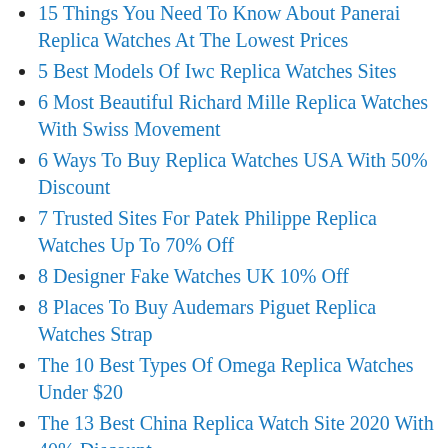15 Things You Need To Know About Panerai Replica Watches At The Lowest Prices
5 Best Models Of Iwc Replica Watches Sites
6 Most Beautiful Richard Mille Replica Watches With Swiss Movement
6 Ways To Buy Replica Watches USA With 50% Discount
7 Trusted Sites For Patek Philippe Replica Watches Up To 70% Off
8 Designer Fake Watches UK 10% Off
8 Places To Buy Audemars Piguet Replica Watches Strap
The 10 Best Types Of Omega Replica Watches Under $20
The 13 Best China Replica Watch Site 2020 With 40% Discount
Top 12 Things To Know Before Buying Tag